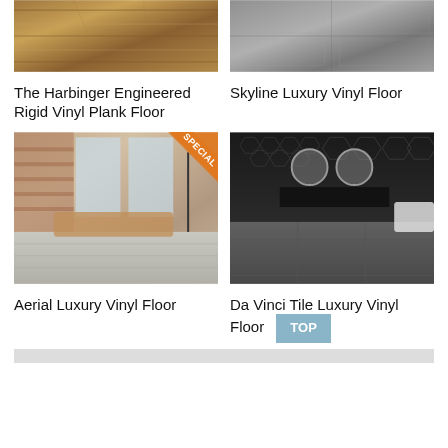[Figure (photo): Hardwood flooring with wood grain texture in warm brown tones]
The Harbinger Engineered Rigid Vinyl Plank Floor
[Figure (photo): Concrete/stone textured gray flooring from above]
Skyline Luxury Vinyl Floor
[Figure (photo): Modern living room with light gray luxury vinyl plank flooring, brick walls, brown sofa; SPECIAL badge in top-right corner]
Aerial Luxury Vinyl Floor
[Figure (photo): Dark luxury bathroom with hexagonal black wall tiles and dark gray large-format vinyl tile flooring]
Da Vinci Tile Luxury Vinyl Floor
[Figure (photo): Partial view of flooring product at bottom of page]